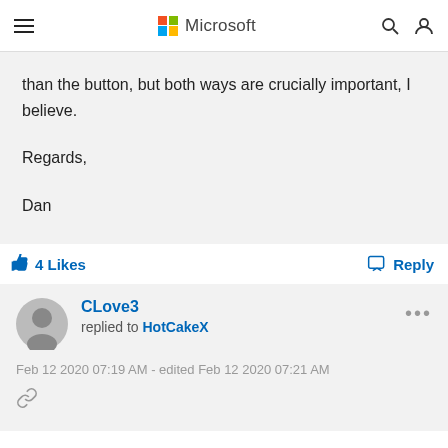Microsoft
than the button, but both ways are crucially important, I believe.

Regards,

Dan
4 Likes   Reply
CLove3 replied to HotCakeX
Feb 12 2020 07:19 AM - edited Feb 12 2020 07:21 AM